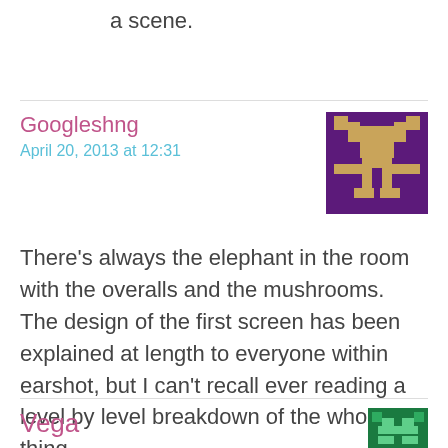a scene.
Googleshng
April 20, 2013 at 12:31
[Figure (illustration): Pixel art avatar of a character in purple and tan/gold colors, resembling a retro sprite]
There’s always the elephant in the room with the overalls and the mushrooms. The design of the first screen has been explained at length to everyone within earshot, but I can’t recall ever reading a level by level breakdown of the whole thing.
Vega
[Figure (illustration): Pixel art avatar partially visible, green and teal colors]